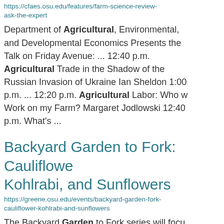https://cfaes.osu.edu/features/farm-science-review-ask-the-expert
Department of Agricultural, Environmental, and Developmental Economics Presents the Talk on Friday Avenue: ... 12:40 p.m. Agricultural Trade in the Shadow of the Russian Invasion of Ukraine Ian Sheldon 1:00 p.m. ... 12:20 p.m. Agricultural Labor: Who will Work on my Farm? Margaret Jodlowski 12:40 p.m. What's ...
Backyard Garden to Fork: Cauliflower, Kohlrabi, and Sunflowers
https://greene.osu.edu/events/backyard-garden-fork-cauliflower-kohlrabi-and-sunflowers
The Backyard Garden to Fork series will focu...